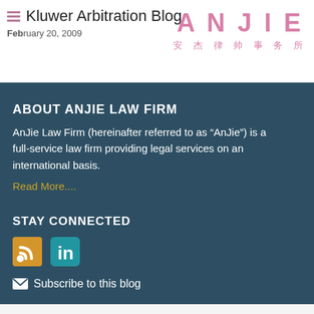Kluwer Arbitration Blog
February 20, 2009
[Figure (logo): ANJIE law firm logo with pink letters and Chinese characters 安杰律帅事务所]
ABOUT ANJIE LAW FIRM
AnJie Law Firm (hereinafter referred to as “AnJie”) is a full-service law firm providing legal services on an international basis.
Read More....
STAY CONNECTED
[Figure (infographic): RSS feed icon (orange) and LinkedIn icon (teal/blue)]
Subscribe to this blog